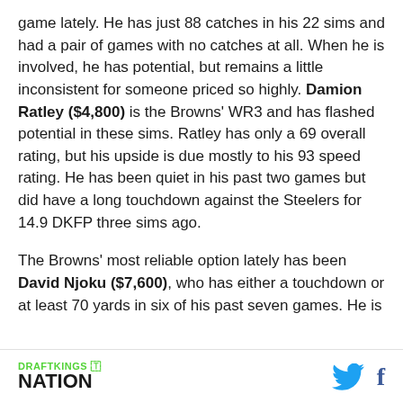game lately. He has just 88 catches in his 22 sims and had a pair of games with no catches at all. When he is involved, he has potential, but remains a little inconsistent for someone priced so highly. Damion Ratley ($4,800) is the Browns' WR3 and has flashed potential in these sims. Ratley has only a 69 overall rating, but his upside is due mostly to his 93 speed rating. He has been quiet in his past two games but did have a long touchdown against the Steelers for 14.9 DKFP three sims ago.
The Browns' most reliable option lately has been David Njoku ($7,600), who has either a touchdown or at least 70 yards in six of his past seven games. He is
DRAFTKINGS NATION